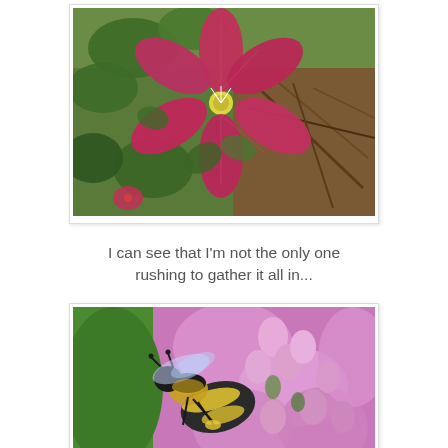[Figure (photo): Close-up photograph of a large pink/magenta clematis flower with green leaves and brown twigs in the background]
I can see that I'm not the only one rushing to gather it all in...
[Figure (photo): Close-up photograph of a bumblebee on pink flowers (possibly phlox or similar), with green leaves in the background]